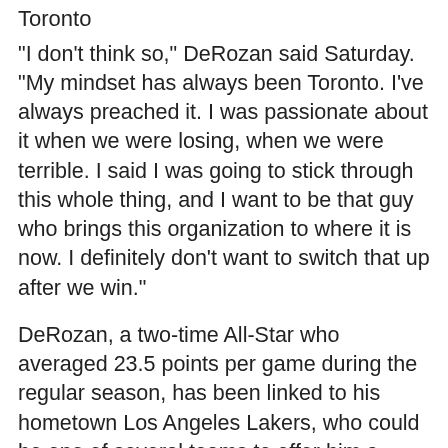Toronto
"I don't think so," DeRozan said Saturday. "My mindset has always been Toronto. I've always preached it. I was passionate about it when we were losing, when we were terrible. I said I was going to stick through this whole thing, and I want to be that guy who brings this organization to where it is now. I definitely don't want to switch that up after we win."
DeRozan, a two-time All-Star who averaged 23.5 points per game during the regular season, has been linked to his hometown Los Angeles Lakers, who could be one of several teams to offer him a maximum contract starting at $25 million annually.
Per collective bargaining rules, the Raptors will be able to offer DeRozan up to five years at around $145 million, whereas other teams will be able to offer him up to four years at around $107 million. Toronto general manager Masai Ujiri will address the media early next week.
"It was... In The...